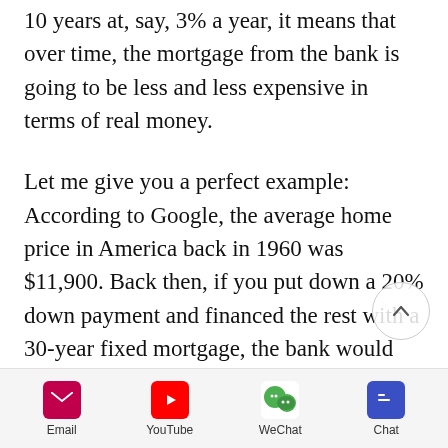10 years at, say, 3% a year, it means that over time, the mortgage from the bank is going to be less and less expensive in terms of real money.
Let me give you a perfect example: According to Google, the average home price in America back in 1960 was $11,900. Back then, if you put down a 20% down payment and financed the rest with a 30-year fixed mortgage, the bank would have loaned you $9,520. So
[Figure (other): Scroll-to-top circular button with upward chevron arrow]
[Figure (infographic): Share bar at bottom with Email, YouTube, WeChat, and Chat icons and labels]